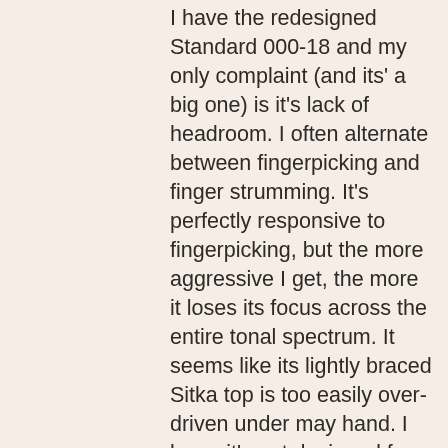I have the redesigned Standard 000-18 and my only complaint (and its' a big one) is it's lack of headroom. I often alternate between fingerpicking and finger strumming. It's perfectly responsive to fingerpicking, but the more aggressive I get, the more it loses its focus across the entire tonal spectrum. It seems like its lightly braced Sitka top is too easily over-driven under may hand. I know it's not designed for aggressive strumming, but I've heard some Adi top 000/OM's that maintain focus quite. I'd like to opt for an Adi top 000-18 like the GE, but I really prefer the thicker, warmer trebles produced by a Sitka top. So I've got a bit of a conundrum in my hands. It seems my only choices would be to stick with what I have adapt myself to the constraints of the instrument, or move to an even